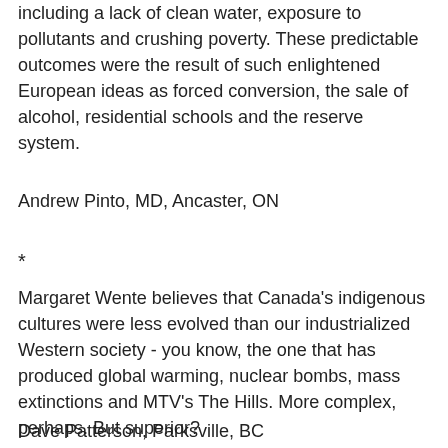including a lack of clean water, exposure to pollutants and crushing poverty. These predictable outcomes were the result of such enlightened European ideas as forced conversion, the sale of alcohol, residential schools and the reserve system.
Andrew Pinto, MD, Ancaster, ON
*
Margaret Wente believes that Canada's indigenous cultures were less evolved than our industrialized Western society - you know, the one that has produced global warming, nuclear bombs, mass extinctions and MTV's The Hills. More complex, perhaps. But superior?
Dave Patterson, Parksville, BC
*